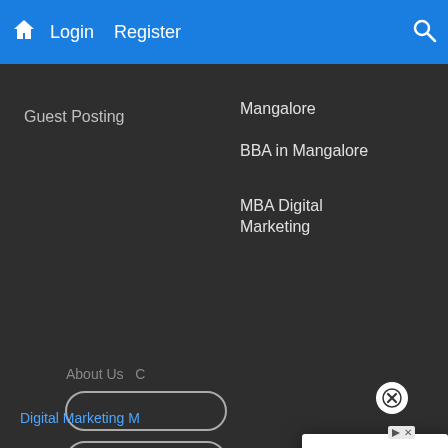Login   Register
Guest Posting
Mangalore
BBA in Mangalore
MBA Digital Marketing
[Figure (screenshot): Three rounded pill/tab shapes in dark navigation area]
About Us
Digital Marketing
[Figure (infographic): Advertisement overlay card: Affordable BBA in Management. Gain an in-depth theoretical understanding and practical, working knowledge of business. UT Permian Basin. Open button.]
Affordable BBA in Management
Gain an in-depth theoretical understanding and practical, working knowledge of business.
UT Permian Basin